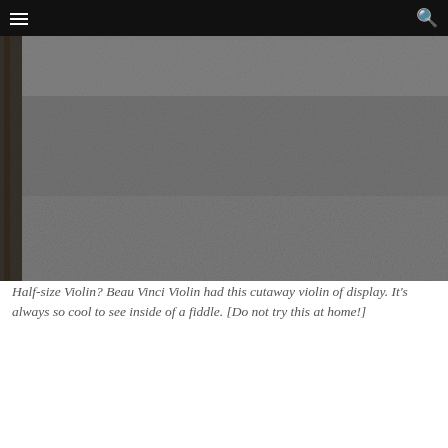Navigation bar with hamburger menu and search icon
[Figure (photo): A cutaway half-size violin displayed on a patterned rug or fabric. The image is partially cut off, showing mostly the dark gray/textured background with a decorative patterned strip on the left edge. The interior of the violin is visible as a cutaway display.]
Half-size Violin? Beau Vinci Violin had this cutaway violin of display. It's always so cool to see inside of a fiddle. [Do not try this at home!]